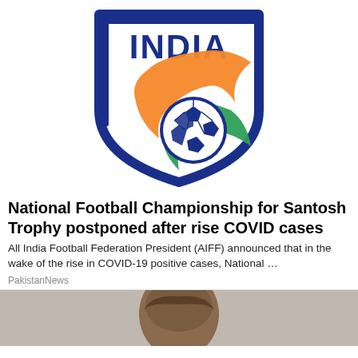[Figure (logo): All India Football Federation (AIFF) logo: a shield outline in dark blue with the word INDIA at the top, an orange and green flame/wing design, and a dark blue football in the center.]
National Football Championship for Santosh Trophy postponed after rise COVID cases
All India Football Federation President (AIFF) announced that in the wake of the rise in COVID-19 positive cases, National …
PakistanNews
[Figure (photo): Partial photo of a person with brown hair, cropped at the bottom of the page.]